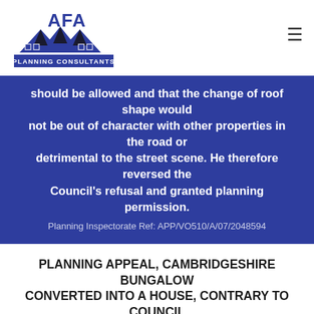[Figure (logo): AFA Planning Consultants logo with blue house/roof graphic and text]
should be allowed and that the change of roof shape would not be out of character with other properties in the road or detrimental to the street scene. He therefore reversed the Council's refusal and granted planning permission.
Planning Inspectorate Ref: APP/VO510/A/07/2048594
PLANNING APPEAL, CAMBRIDGESHIRE BUNGALOW CONVERTED INTO A HOUSE, CONTRARY TO COUNCIL POLICY
The Council had refused planning permission to allow the addition of a first floor to a bungalow (thus turning it into a five bedroom house) as well as other enhancements to the property. They felt